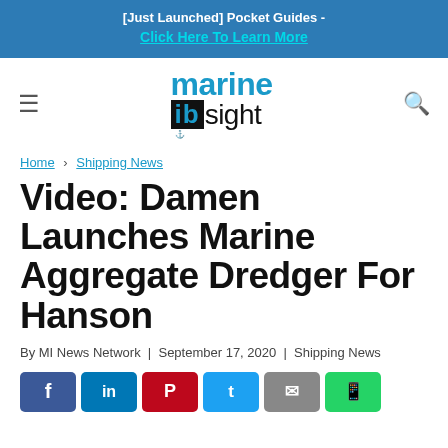[Just Launched] Pocket Guides - Click Here To Learn More
[Figure (logo): Marine Insight website logo with blue 'marine' text and black 'insight' text with anchor graphic]
Home › Shipping News
Video: Damen Launches Marine Aggregate Dredger For Hanson
By MI News Network | September 17, 2020 | Shipping News
[Figure (infographic): Social sharing buttons: Facebook, LinkedIn, Pinterest, Twitter, Email, WhatsApp]